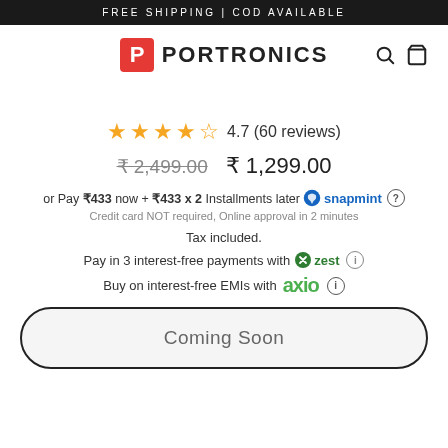FREE SHIPPING | COD AVAILABLE
[Figure (logo): Portronics logo with red P icon and search/cart icons]
4.7 (60 reviews)
₹ 2,499.00  ₹ 1,299.00
or Pay ₹433 now + ₹433 x 2 Installments later snapmint ?
Credit card NOT required, Online approval in 2 minutes
Tax included.
Pay in 3 interest-free payments with zest ⓘ
Buy on interest-free EMIs with axio ⓘ
Coming Soon